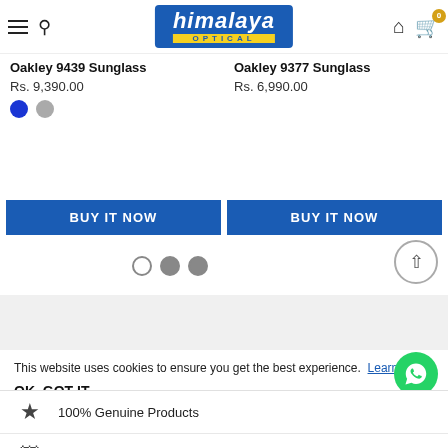himalaya OPTICAL — header with hamburger, search, logo, home, cart (0)
Oakley 9439 Sunglass
Rs. 9,390.00
Oakley 9377 Sunglass
Rs. 6,990.00
BUY IT NOW
BUY IT NOW
This website uses cookies to ensure you get the best experience. Learn More
OK, GOT IT
100% Genuine Products
Lifetime Warranty